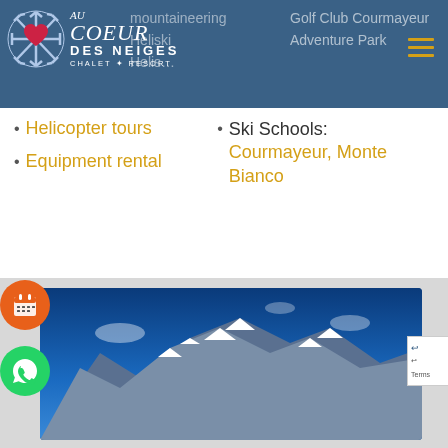[Figure (logo): Au Coeur des Neiges Chalet Resort logo with snowflake icon and stylized text]
mountaineering
Golf Club Courmayeur
Heliski
Adventure Park
Helicopter tours
Rafting, Kayaking, Canyoning
Equipment rental
Ski Schools: Courmayeur, Monte Bianco
[Figure (photo): Mountain landscape with snow-capped peaks under blue sky]
[Figure (other): Orange circular calendar booking button]
[Figure (other): Green circular WhatsApp contact button]